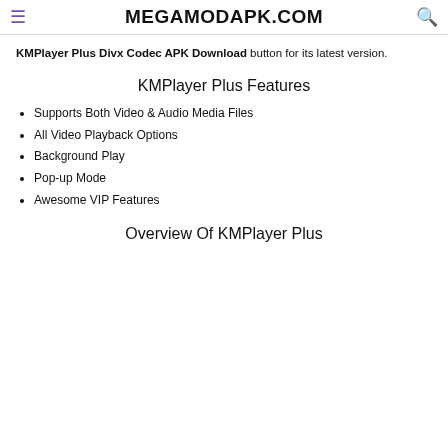MEGAMODAPK.COM
KMPlayer Plus Divx Codec APK Download button for its latest version.
KMPlayer Plus Features
Supports Both Video & Audio Media Files
All Video Playback Options
Background Play
Pop-up Mode
Awesome VIP Features
Overview Of KMPlayer Plus